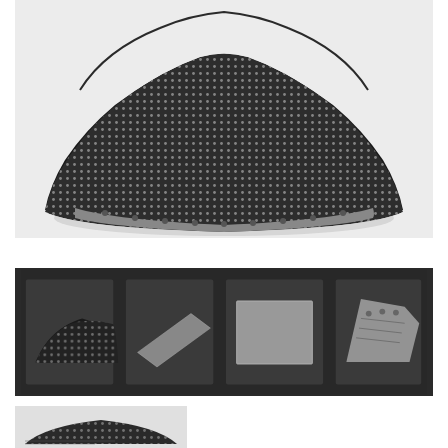[Figure (photo): Large photo of a curved LED display module panel showing a dome-shaped arc form factor with dense pixel matrix on the surface, viewed from above against a white background]
[Figure (photo): Row of four product photos on dark background: (1) curved LED module from side angle, (2) flat rectangular LED panel tilted, (3) flat rectangular LED panel front-on, (4) circuit board/bracket component]
[Figure (photo): Partial bottom thumbnail image showing a close-up or specification detail of an LED module panel]